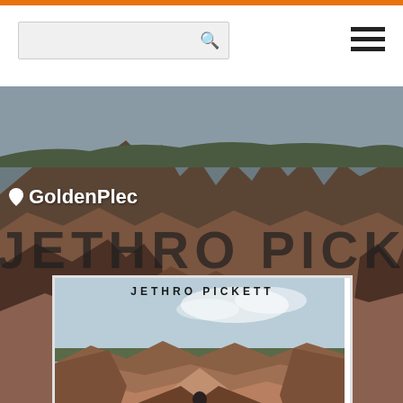[Figure (screenshot): GoldenPlec website screenshot showing a music review page for Jethro Pickett's album 'France'. Orange top bar, white navigation with search box and hamburger menu, blurred background of rocky landscape with large text 'JETHRO PICKETT', and centered album cover artwork showing the artist standing in red rock formations with the album title 'FRANCE' at the bottom.]
GoldenPlec
JETHRO PICKETT
[Figure (photo): Album cover for Jethro Pickett's 'France'. Shows the artist standing in dramatic red/orange layered rock formations under a pale sky. Text reads 'JETHRO PICKETT' at the top and 'F R A N C E' at the bottom in white spaced lettering.]